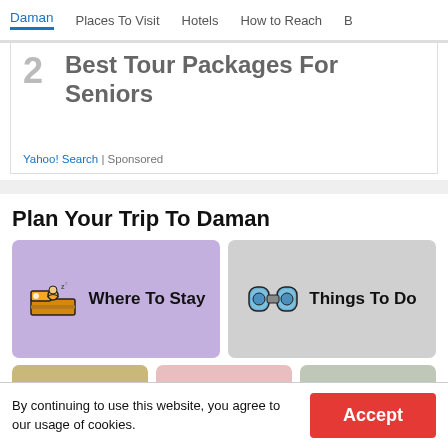Daman | Places To Visit | Hotels | How to Reach | B…
2  Best Tour Packages For Seniors
Yahoo! Search | Sponsored
Plan Your Trip To Daman
[Figure (infographic): Two large cards side by side: purple card with hotel/bed icon and text 'Where To Stay', gray card with binoculars icon and text 'Things To Do']
[Figure (infographic): Three small cards: tan card with fork and spoon icon, pink card with cloud/weather icon, sage card with bus/vehicle icon]
By continuing to use this website, you agree to our usage of cookies.
Accept